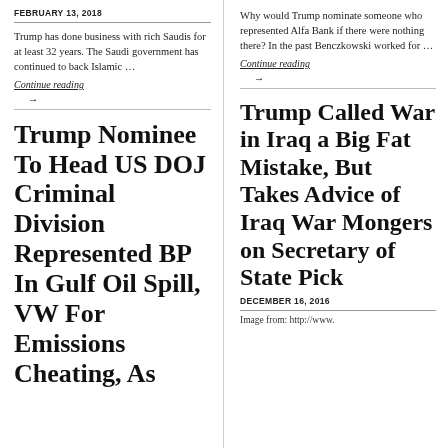FEBRUARY 13, 2018
Trump has done business with rich Saudis for at least 32 years. The Saudi government has continued to back Islamic …
Continue reading
→
Why would Trump nominate someone who represented Alfa Bank if there were nothing there? In the past Benczkowski worked for …
Continue reading
→
Trump Nominee To Head US DOJ Criminal Division Represented BP In Gulf Oil Spill, VW For Emissions Cheating, As
Trump Called War in Iraq a Big Fat Mistake, But Takes Advice of Iraq War Mongers on Secretary of State Pick
DECEMBER 16, 2016
Image from: http://www.